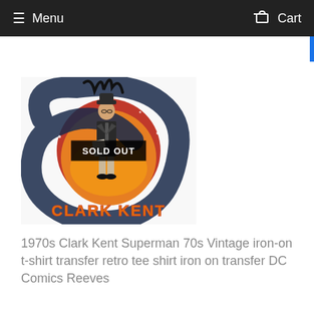Menu   Cart
[Figure (illustration): Clark Kent Superman 1970s vintage iron-on t-shirt transfer image. A man in a suit and hat stands in front of a red/orange circle with flames, surrounded by a dark swirling cosmic design. Text 'CLARK KENT' in orange at the bottom. A 'SOLD OUT' badge overlays the center of the image.]
1970s Clark Kent Superman 70s Vintage iron-on t-shirt transfer retro tee shirt iron on transfer DC Comics Reeves